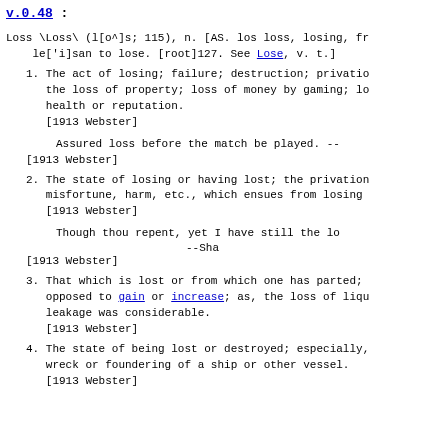v.0.48 :
Loss \Loss\ (l[o^]s; 115), n. [AS. los loss, losing, fr le['i]san to lose. [root]127. See Lose, v. t.]
1. The act of losing; failure; destruction; privation; the loss of property; loss of money by gaming; lo health or reputation.
[1913 Webster]
Assured loss before the match be played. --
[1913 Webster]
2. The state of losing or having lost; the privation misfortune, harm, etc., which ensues from losing
[1913 Webster]
Though thou repent, yet I have still the lo
--Sha
[1913 Webster]
3. That which is lost or from which one has parted; opposed to gain or increase; as, the loss of liqu leakage was considerable.
[1913 Webster]
4. The state of being lost or destroyed; especially, wreck or foundering of a ship or other vessel.
[1913 Webster]